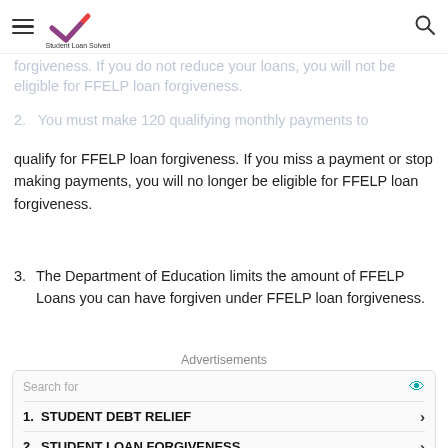Student Loan Solved
forgiveness. If you do not reduce your loans, you will not be eligible for FFELP loan forgiveness.
2. You must make 120 qualifying monthly payments to qualify for FFELP loan forgiveness. If you miss a payment or stop making payments, you will no longer be eligible for FFELP loan forgiveness.
3. The Department of Education limits the amount of FFELP Loans you can have forgiven under FFELP loan forgiveness.
Advertisements
Search for
1. STUDENT DEBT RELIEF
2. STUDENT LOAN FORGIVENESS
Yahoo! Search | Sponsored